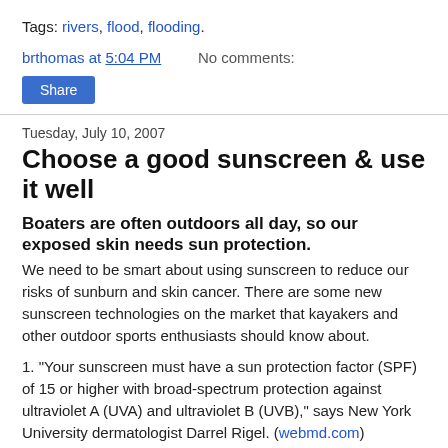Tags: rivers, flood, flooding.
brthomas at 5:04 PM    No comments:
Share
Tuesday, July 10, 2007
Choose a good sunscreen & use it well
Boaters are often outdoors all day, so our exposed skin needs sun protection.
We need to be smart about using sunscreen to reduce our risks of sunburn and skin cancer. There are some new sunscreen technologies on the market that kayakers and other outdoor sports enthusiasts should know about.
1. "Your sunscreen must have a sun protection factor (SPF) of 15 or higher with broad-spectrum protection against ultraviolet A (UVA) and ultraviolet B (UVB)," says New York University dermatologist Darrel Rigel. (webmd.com)